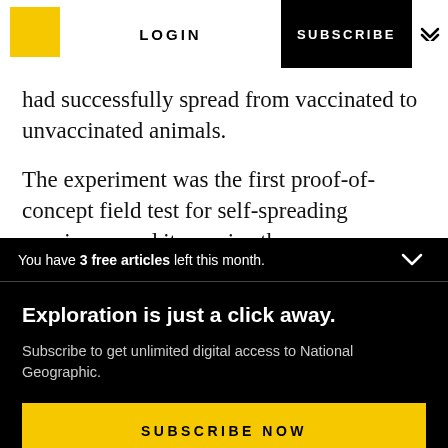LOGIN  SUBSCRIBE
had successfully spread from vaccinated to unvaccinated animals.
The experiment was the first proof-of-concept field test for self-spreading vaccines—and it remains the
You have 3 free articles left this month.
Exploration is just a click away.
Subscribe to get unlimited digital access to National Geographic.
SUBSCRIBE NOW